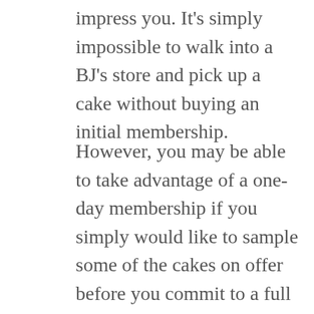impress you. It's simply impossible to walk into a BJ's store and pick up a cake without buying an initial membership.
However, you may be able to take advantage of a one-day membership if you simply would like to sample some of the cakes on offer before you commit to a full BJs membership.
The majority of the baked goods at BJ's taste great, however, they don't always look that great. A lot of online reviewers of the goods have expressed their disappointment in the quality that goes into the in-store decorating of baked